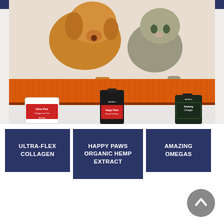[Figure (photo): Banner image showing a dog and cat peeking over an orange corrugated surface with three product bottles below: Ultra-Flex Collagen, Happy Paws Hemp Extract, and Amazing Omegas, all from Ask Ariel brand.]
ULTRA-FLEX COLLAGEN
HAPPY PAWS ORGANIC HEMP EXTRACT
AMAZING OMEGAS
[Figure (illustration): Gray circular scroll-to-top button with upward chevron arrow icon.]